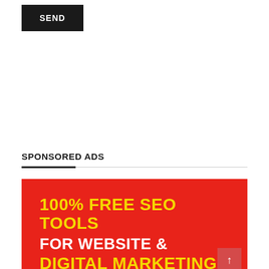SEND
SPONSORED ADS
[Figure (infographic): Red advertisement banner for '100% FREE SEO TOOLS FOR WEBSITE & DIGITAL MARKETING' with yellow and white bold text on red background]